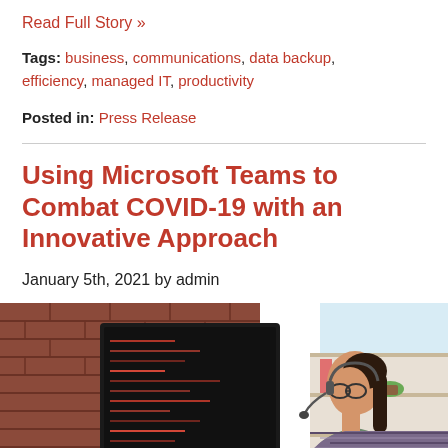Read Full Story »
Tags: business, communications, data backup, efficiency, managed IT, productivity
Posted in: Press Release
Using Microsoft Teams to Combat COVID-19 with an Innovative Approach
January 5th, 2021 by admin
[Figure (photo): Woman wearing headset working at a computer monitor with code on screen, brick wall background, shelving unit in background]